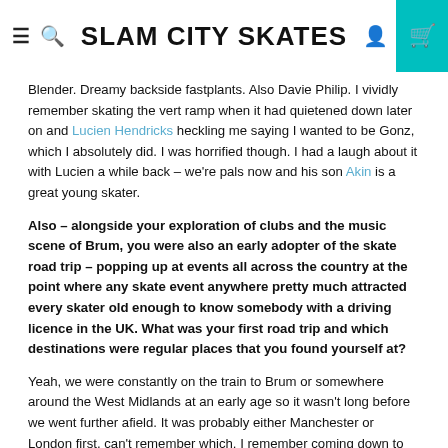SLAM CITY SKATES
Blender. Dreamy backside fastplants. Also Davie Philip. I vividly remember skating the vert ramp when it had quietened down later on and Lucien Hendricks heckling me saying I wanted to be Gonz, which I absolutely did. I was horrified though. I had a laugh about it with Lucien a while back – we're pals now and his son Akin is a great young skater.
Also – alongside your exploration of clubs and the music scene of Brum, you were also an early adopter of the skate road trip – popping up at events all across the country at the point where any skate event anywhere pretty much attracted every skater old enough to know somebody with a driving licence in the UK. What was your first road trip and which destinations were regular places that you found yourself at?
Yeah, we were constantly on the train to Brum or somewhere around the West Midlands at an early age so it wasn't long before we went further afield. It was probably either Manchester or London first, can't remember which. I remember coming down to skate that